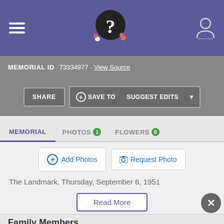FindAGrave memorial page header with hamburger menu, logo, and user icon
MEMORIAL ID  73334977 · View Source
SHARE  + SAVE TO  SUGGEST EDITS  ▼
MEMORIAL  PHOTOS 1  FLOWERS 0
+ Add Photos  📷 Request Photo
The Landmark, Thursday, September 6, 1951
Read More
Family Members